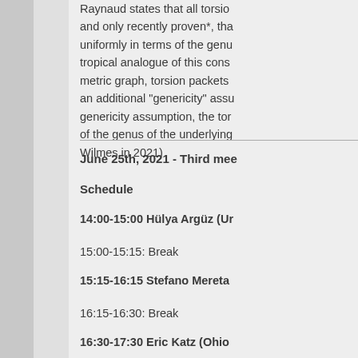Raynaud states that all torsion and only recently proven*, that uniformly in terms of the genus tropical analogue of this construction metric graph, torsion packets an additional "genericity" assumption, genericity assumption, the torsion of the genus of the underlying Wilmes in 2021)
June 25th, 2021 - Third mee
Schedule
14:00-15:00 Hülya Argüz (Ur
15:00-15:15: Break
15:15-16:15 Stefano Mereta
16:15-16:30: Break
16:30-17:30 Eric Katz (Ohio